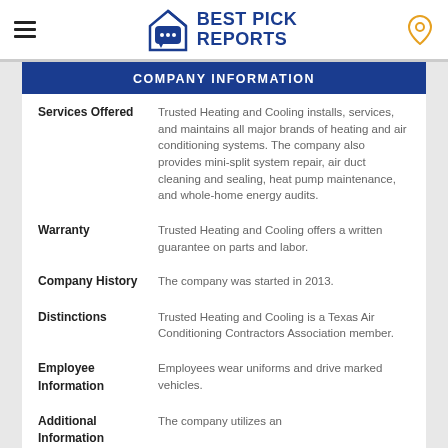BEST PICK REPORTS
COMPANY INFORMATION
| Field | Value |
| --- | --- |
| Services Offered | Trusted Heating and Cooling installs, services, and maintains all major brands of heating and air conditioning systems. The company also provides mini-split system repair, air duct cleaning and sealing, heat pump maintenance, and whole-home energy audits. |
| Warranty | Trusted Heating and Cooling offers a written guarantee on parts and labor. |
| Company History | The company was started in 2013. |
| Distinctions | Trusted Heating and Cooling is a Texas Air Conditioning Contractors Association member. |
| Employee Information | Employees wear uniforms and drive marked vehicles. |
| Additional Information | The company utilizes an... |